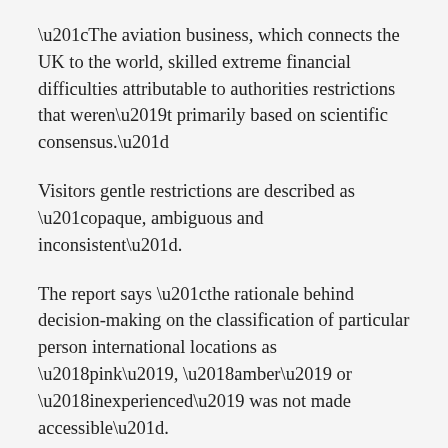“The aviation business, which connects the UK to the world, skilled extreme financial difficulties attributable to authorities restrictions that weren’t primarily based on scientific consensus.”
Visitors gentle restrictions are described as “opaque, ambiguous and inconsistent”.
The report says “the rationale behind decision-making on the classification of particular person international locations as ‘pink’, ‘amber’ or ‘inexperienced’ was not made accessible”.
On resort quarantine, the MPs discover “no proof” of any profit in contrast with self-isolation at house.
In addition they deplored the frequent